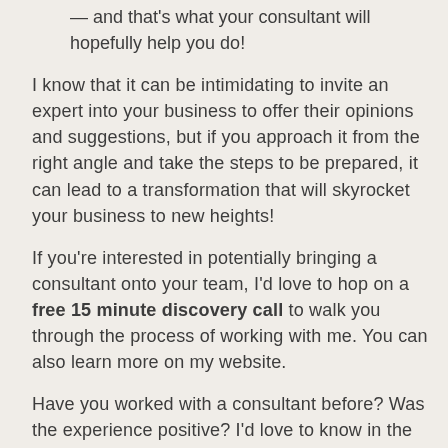— and that's what your consultant will hopefully help you do!
I know that it can be intimidating to invite an expert into your business to offer their opinions and suggestions, but if you approach it from the right angle and take the steps to be prepared, it can lead to a transformation that will skyrocket your business to new heights!
If you're interested in potentially bringing a consultant onto your team, I'd love to hop on a free 15 minute discovery call to walk you through the process of working with me. You can also learn more on my website.
Have you worked with a consultant before? Was the experience positive? I'd love to know in the comments!
Olivia x